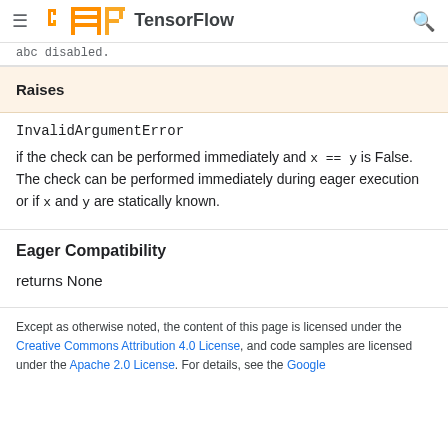TensorFlow
abc disabled.
Raises
InvalidArgumentError
if the check can be performed immediately and x == y is False. The check can be performed immediately during eager execution or if x and y are statically known.
Eager Compatibility
returns None
Except as otherwise noted, the content of this page is licensed under the Creative Commons Attribution 4.0 License, and code samples are licensed under the Apache 2.0 License. For details, see the Google